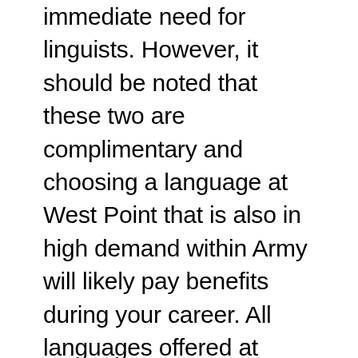immediate need for linguists. However, it should be noted that these two are complimentary and choosing a language at West Point that is also in high demand within Army will likely pay benefits during your career. All languages offered at West Point, except German, are on the Strategic Languages List. This means that if you are proficient in one of these languages,